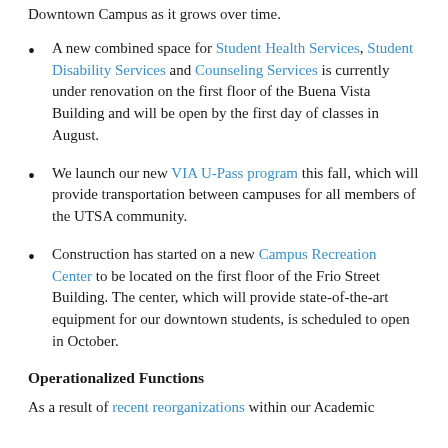Downtown Campus as it grows over time.
A new combined space for Student Health Services, Student Disability Services and Counseling Services is currently under renovation on the first floor of the Buena Vista Building and will be open by the first day of classes in August.
We launch our new VIA U-Pass program this fall, which will provide transportation between campuses for all members of the UTSA community.
Construction has started on a new Campus Recreation Center to be located on the first floor of the Frio Street Building. The center, which will provide state-of-the-art equipment for our downtown students, is scheduled to open in October.
Operationalized Functions
As a result of recent reorganizations within our Academic